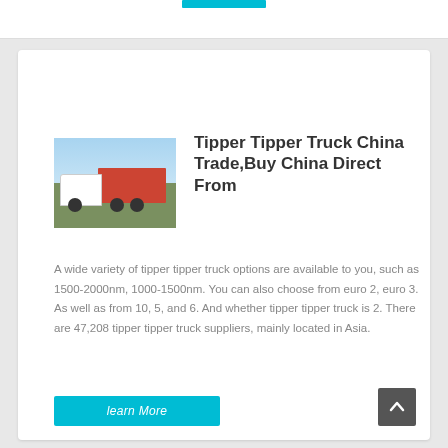[Figure (photo): White tipper truck / heavy vehicle on a road with trees and sky in background]
Tipper Tipper Truck China Trade,Buy China Direct From
A wide variety of tipper tipper truck options are available to you, such as 1500-2000nm, 1000-1500nm. You can also choose from euro 2, euro 3. As well as from 10, 5, and 6. And whether tipper tipper truck is 2. There are 47,208 tipper tipper truck suppliers, mainly located in Asia.